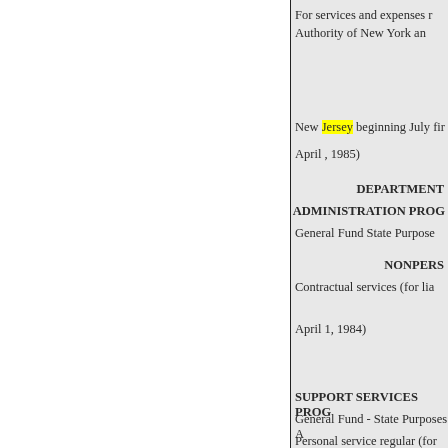For services and expenses r Authority of New York an
New Jersey beginning July fir April , 1985)
DEPARTMENT
ADMINISTRATION PROG
General Fund State Purpose
NONPERS
Contractual services (for lia
April 1, 1984)
SUPPORT SERVICES PROG
General Fund - State Purposes A
Personal service regular (for liab